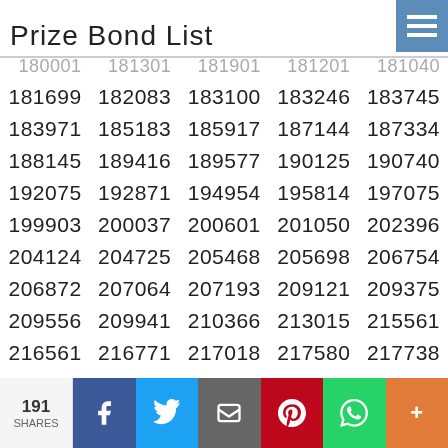Prize Bond List
| 180001 | 181301 | 181901 | 181201 | 181040 |
| 181699 | 182083 | 183100 | 183246 | 183745 |
| 183971 | 185183 | 185917 | 187144 | 187334 |
| 188145 | 189416 | 189577 | 190125 | 190740 |
| 192075 | 192871 | 194954 | 195814 | 197075 |
| 199903 | 200037 | 200601 | 201050 | 202396 |
| 204124 | 204725 | 205468 | 205698 | 206754 |
| 206872 | 207064 | 207193 | 209121 | 209375 |
| 209556 | 209941 | 210366 | 213015 | 215561 |
| 216561 | 216771 | 217018 | 217580 | 217738 |
| 218457 | 219035 | 219064 | 219957 | 220134 |
| 220526 | 220826 | 223623 | 223625 | 224074 |
| 224127 | 224167 | 224897 | 225795 | 225897 |
| 226991 | 227645 | 228437 | 229553 | 230145 |
| 230177 | 230038 | 231136 | 231846 | 232230 |
191 SHARES | f | Twitter | Email | Pinterest | WhatsApp | +